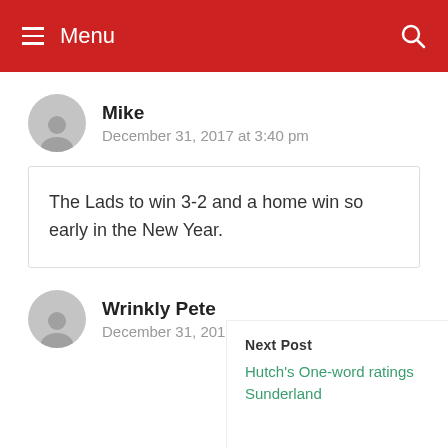Menu
Mike
December 31, 2017 at 3:40 pm
The Lads to win 3-2 and a home win so early in the New Year.
Wrinkly Pete
December 31, 2017 a
Next Post
Hutch's One-word ratings Sunderland